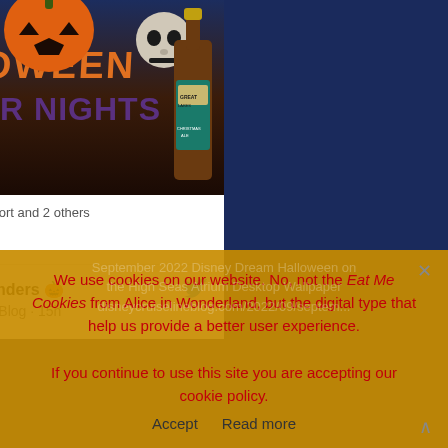[Figure (photo): Halloween Horror Nights promotional image showing a jack-o-lantern, black cat, skeleton, and Great Lakes Christmas Ale bottle against a dark background with 'HALLOWEEN HORROR NIGHTS' text in stylized orange and purple lettering]
Universal Orlando Resort and 2 others
[Figure (infographic): Social media engagement icons: comment bubble and heart icon with count 17]
Scott Sanders 🎃 @TheDCLBlog · 15h
We use cookies on our website. No, not the Eat Me Cookies from Alice in Wonderland, but the digital type that help us provide a better user experience. If you continue to use this site you are accepting our cookie policy.
Accept   Read more